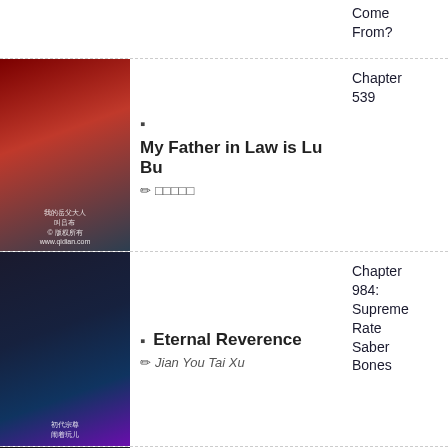Come From? (partial, top cut off)
My Father in Law is Lu Bu | Chapter 539
Eternal Reverence | Jian You Tai Xu | Chapter 984: Supreme Rate Saber Bones
Monarch of Time [Hot] | ZeusTheOlympian | Chapter 835: Today youll die!
My Disciples Are All Villains [Full] | Mou Sheng Ren Zhuan Peng | Chapter 1834 (END) - Reunion (2)